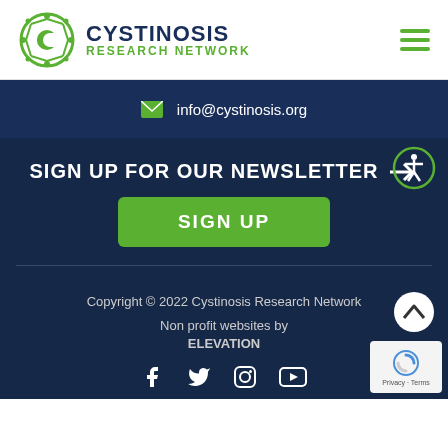[Figure (logo): Cystinosis Research Network logo with green circular icon and text]
info@cystinosis.org
SIGN UP FOR OUR NEWSLETTER
SIGN UP
Copyright © 2022 Cystinosis Research Network
Non profit websites by ELEVATION
[Figure (infographic): Social media icons: Facebook, Twitter, Instagram, YouTube]